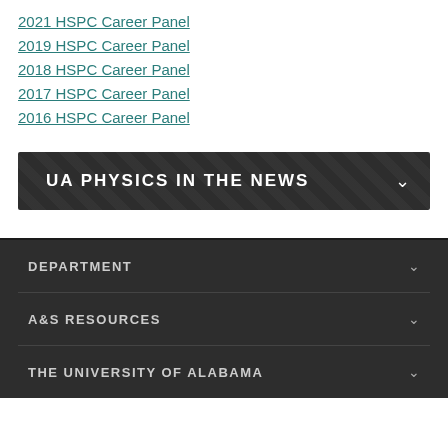2021 HSPC Career Panel
2019 HSPC Career Panel
2018 HSPC Career Panel
2017 HSPC Career Panel
2016 HSPC Career Panel
UA PHYSICS IN THE NEWS
DEPARTMENT
A&S RESOURCES
THE UNIVERSITY OF ALABAMA